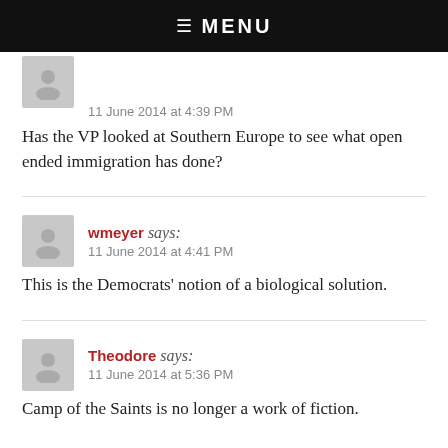☰  MENU
11 June 2014 at 4:39 PM
Has the VP looked at Southern Europe to see what open ended immigration has done?
wmeyer says:
11 June 2014 at 4:41 PM
This is the Democrats' notion of a biological solution.
Theodore says:
11 June 2014 at 5:36 PM
Camp of the Saints is no longer a work of fiction.